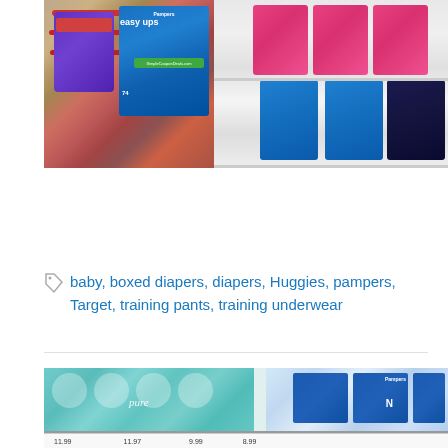[Figure (photo): Photo of Huggies and Pampers Easy Ups training underwear/diapers packages in a Target shopping cart and on store shelves]
CONTINUE READING →
baby, boxed diapers, diapers, Huggies, pampers, Target, training pants, training underwear
[Figure (photo): Photo of Pampers Pure and Pampers diapers on store shelves with price tags visible]